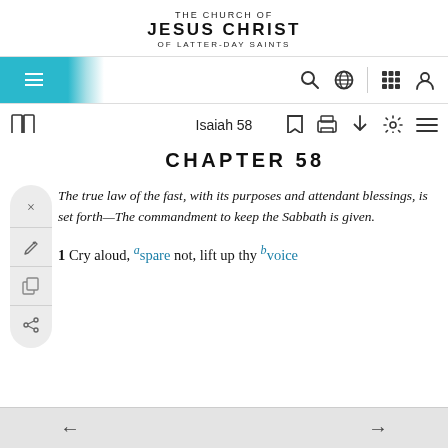THE CHURCH OF JESUS CHRIST OF LATTER-DAY SAINTS
[Figure (screenshot): Navigation bar with hamburger menu on teal background, search icon, globe icon, grid icon, user icon]
[Figure (screenshot): Toolbar with book icon, 'Isaiah 58' title, bookmark, print, download, settings, and list icons]
CHAPTER 58
The true law of the fast, with its purposes and attendant blessings, is set forth—The commandment to keep the Sabbath is given.
1 Cry aloud, a spare not, lift up thy b voice
← →